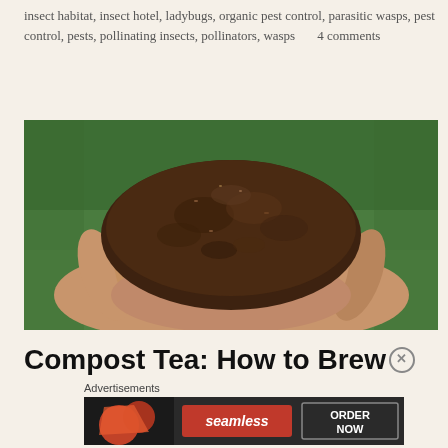insect habitat, insect hotel, ladybugs, organic pest control, parasitic wasps, pest control, pests, pollinating insects, pollinators, wasps     4 comments
[Figure (photo): Two hands cupping a large mound of dark brown compost/soil with green grass visible in the background]
Compost Tea: How to Brew
Advertisements
[Figure (screenshot): Seamless food delivery advertisement showing pizza slices on the left, seamless logo in a red box in the center, and ORDER NOW button on the right]